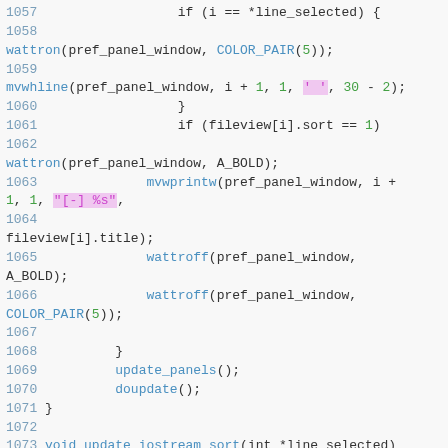[Figure (screenshot): Syntax-highlighted C source code snippet showing lines 1057–1074, featuring functions wattron, mvwhline, mvwprintw, wattroff, update_panels, doupdate, and void update_iostream_sort declaration, with line numbers in blue, function names in blue, string literals in magenta with pink background, and numeric literals in green.]